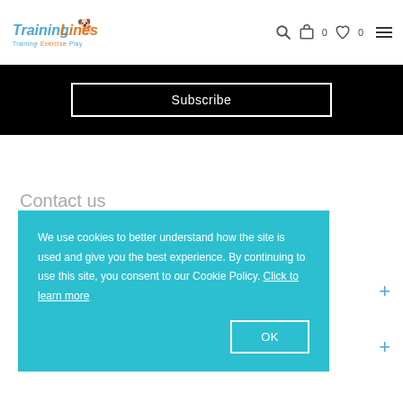[Figure (logo): TrainingLines logo with dog icon, blue and orange text, subtitle: Training · Exercise · Play]
Subscribe
Contact us
...dom
We use cookies to better understand how the site is used and give you the best experience. By continuing to use this site, you consent to our Cookie Policy. Click to learn more
OK